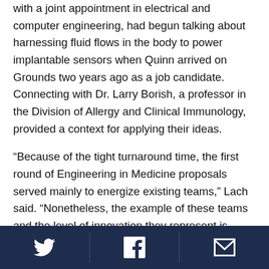with a joint appointment in electrical and computer engineering, had begun talking about harnessing fluid flows in the body to power implantable sensors when Quinn arrived on Grounds two years ago as a job candidate. Connecting with Dr. Larry Borish, a professor in the Division of Allergy and Clinical Immunology, provided a context for applying their ideas.
“Because of the tight turnaround time, the first round of Engineering in Medicine proposals served mainly to energize existing teams,” Lach said. “Nonetheless, the example of these teams and the level of innovation they represent is setting in motion a virtuous cycle, inspiring new teams to coalesce
Twitter | Facebook | Email